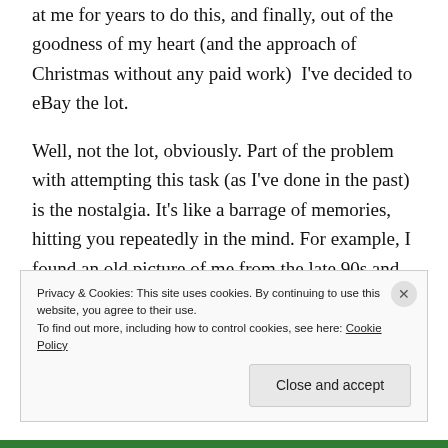at me for years to do this, and finally, out of the goodness of my heart (and the approach of Christmas without any paid work)  I've decided to eBay the lot.
Well, not the lot, obviously. Part of the problem with attempting this task (as I've done in the past) is the nostalgia. It's like a barrage of memories, hitting you repeatedly in the mind. For example, I found an old picture of me from the late 90s and whether I liked it or not, memories flooded back about that time in my life, my hopes and dreams, my  loves won and lost, and my combat trousers.
Privacy & Cookies: This site uses cookies. By continuing to use this website, you agree to their use.
To find out more, including how to control cookies, see here: Cookie Policy
Close and accept